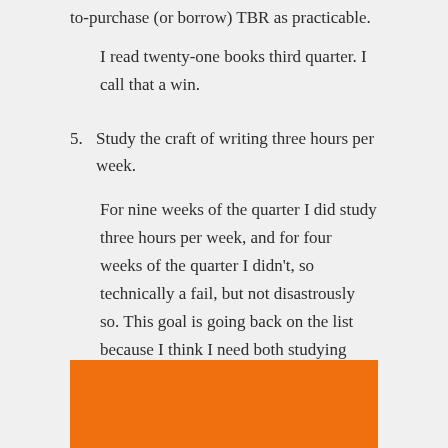to-purchase (or borrow) TBR as practicable.
I read twenty-one books third quarter. I call that a win.
5. Study the craft of writing three hours per week.
For nine weeks of the quarter I did study three hours per week, and for four weeks of the quarter I didn't, so technically a fail, but not disastrously so. This goal is going back on the list because I think I need both studying (learning) and practicing (typing out stories) to improve as a writer.
[Figure (other): Orange/amber colored banner or section divider at the bottom of the page]